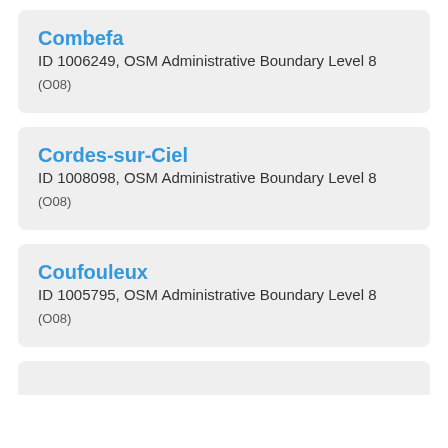Combefa
ID 1006249, OSM Administrative Boundary Level 8 (O08)
Cordes-sur-Ciel
ID 1008098, OSM Administrative Boundary Level 8 (O08)
Coufouleux
ID 1005795, OSM Administrative Boundary Level 8 (O08)